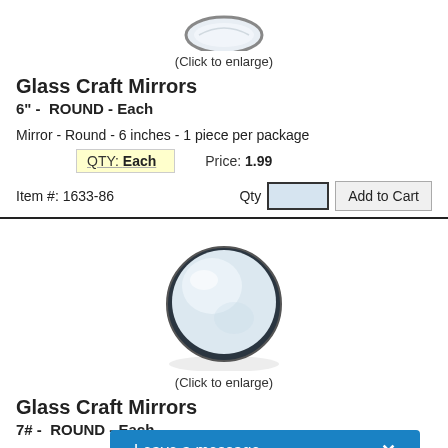[Figure (photo): Partial top view of a round glass craft mirror, cropped at top]
(Click to enlarge)
Glass Craft Mirrors
6" -  ROUND - Each
Mirror - Round - 6 inches - 1 piece per package
QTY: Each   Price: 1.99
Item #: 1633-86
[Figure (photo): Round glass craft mirror, full view, round shape with reflective surface and dark edge]
(Click to enlarge)
Glass Craft Mirrors
7# -  ROUND - Each
Mirror - Round - 7 inches - 1 piece p...
Quantity on Hand: 11
Leave a message